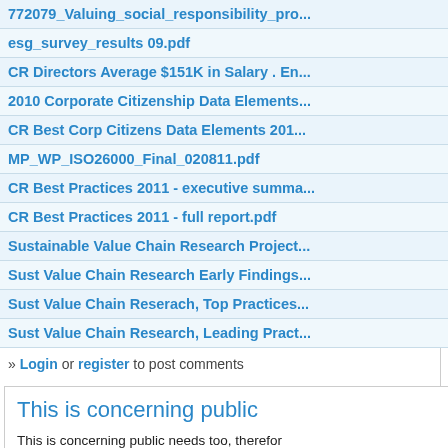772079_Valuing_social_responsibility_pro...
esg_survey_results 09.pdf
CR Directors Average $151K in Salary . En...
2010 Corporate Citizenship Data Elements...
CR Best Corp Citizens Data Elements 201...
MP_WP_ISO26000_Final_020811.pdf
CR Best Practices 2011 - executive summa...
CR Best Practices 2011 - full report.pdf
Sustainable Value Chain Research Project...
Sust Value Chain Research Early Findings...
Sust Value Chain Reserach, Top Practices...
Sust Value Chain Research, Leading Pract...
» Login or register to post comments
This is concerning public
This is concerning public needs too, therefore is going to be meaningless for one way or an...
» parent  Login or register to post comme...